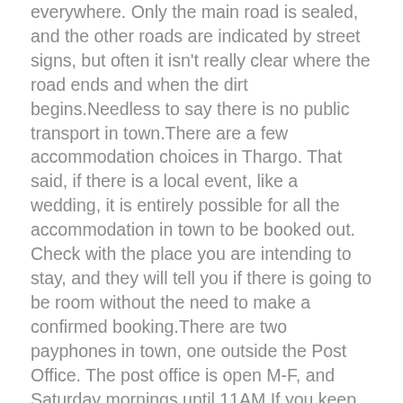everywhere. Only the main road is sealed, and the other roads are indicated by street signs, but often it isn't really clear where the road ends and when the dirt begins.Needless to say there is no public transport in town.There are a few accommodation choices in Thargo. That said, if there is a local event, like a wedding, it is entirely possible for all the accommodation in town to be booked out. Check with the place you are intending to stay, and they will tell you if there is going to be room without the need to make a confirmed booking.There are two payphones in town, one outside the Post Office. The post office is open M-F, and Saturday mornings until 11AM.If you keep going west, who knows where you might end up, eventually Innamincka, in South Australia, the road just keeps going. Back east, to Eulo and the Currawinya National Park, and the relative civilisation of Cunnamulla.Traveling west very quickly becomes a lonely experience. Thargomindah is in many ways the last outpost of civilisation. If you continue west from there, you're on your own in many ways until you reach Innamincka. While the road is fairly well trafficked, if you have a breakdown or run out of fuel, you may very easily find yourself stuck for